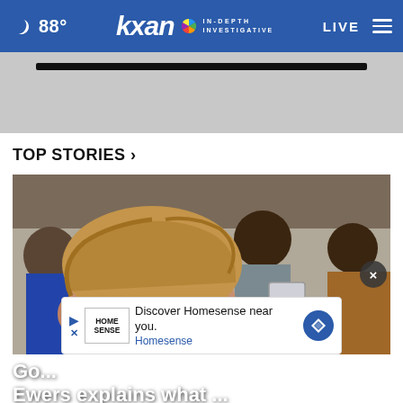88° KXAN IN-DEPTH INVESTIGATIVE LIVE
[Figure (screenshot): Video player area with dark progress bar on gray background]
TOP STORIES ›
[Figure (photo): Group of people in an indoor setting; foreground shows a disheveled man with messy blonde-brown hair; background shows several other men including one in a gray hoodie holding a tablet]
[Figure (other): Advertisement overlay: Discover Homesense near you. Homesense]
Go... Ewers explains what ...